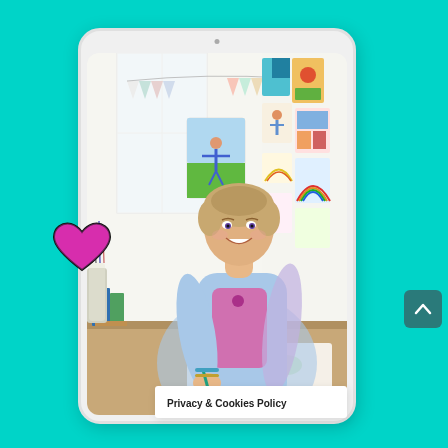[Figure (photo): A smiling woman with short hair wearing a blue patterned top sits at a desk writing, surrounded by colorful artwork and bunting on the walls. The image is displayed on a white tablet device against a turquoise background. A pink hand-drawn heart sticker appears on the left side of the composition.]
Privacy & Cookies Policy